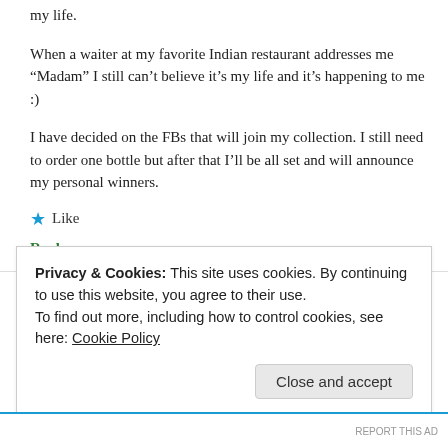my life.
When a waiter at my favorite Indian restaurant addresses me “Madam” I still can’t believe it’s my life and it’s happening to me :)
I have decided on the FBs that will join my collection. I still need to order one bottle but after that I’ll be all set and will announce my personal winners.
★ Like
Reply
Privacy & Cookies: This site uses cookies. By continuing to use this website, you agree to their use.
To find out more, including how to control cookies, see here: Cookie Policy
Close and accept
REPORT THIS AD